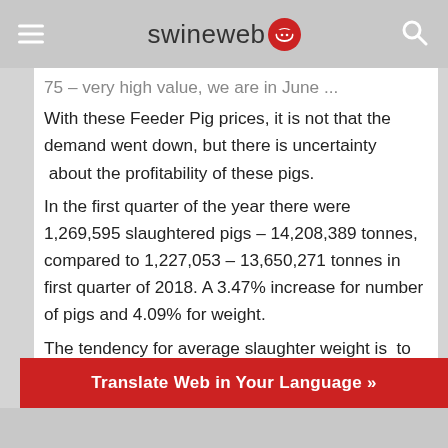swineweb
75 – very high value, we are in June ... With these Feeder Pig prices, it is not that the demand went down, but there is uncertainty  about the profitability of these pigs. In the first quarter of the year there were 1,269,595 slaughtered pigs – 14,208,389 tonnes, compared to 1,227,053 – 13,650,271 tonnes in first quarter of 2018. A 3.47% increase for number of pigs and 4.09% for weight. The tendency for average slaughter weight is  to increase year by year. In 2018 was 111.7 kg compared to 107.6 kg in 2015...
Translate Web in Your Language »